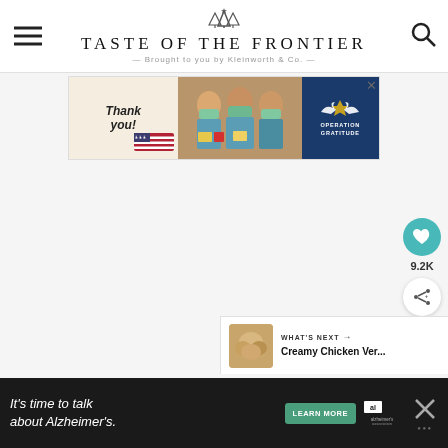TASTE OF THE FRONTIER — Brought to you by Kleinworth & Co.
[Figure (screenshot): Advertisement banner: Operation Gratitude 'Thank you!' ad with healthcare workers holding cards, American flag pencil graphic, and Operation Gratitude logo on blue background]
[Figure (screenshot): Floating heart/like button showing 9.2K likes and a share button]
[Figure (screenshot): What's Next widget showing 'Creamy Chicken Ver...' with thumbnail]
[Figure (screenshot): Bottom advertisement banner: 'It's time to talk about Alzheimer's.' with LEARN MORE button and Alzheimer's Association logo]